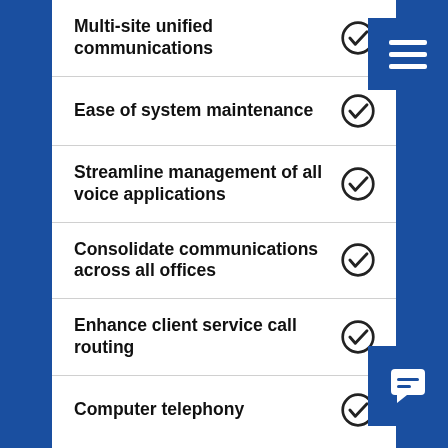Multi-site unified communications
Ease of system maintenance
Streamline management of all voice applications
Consolidate communications across all offices
Enhance client service call routing
Computer telephony